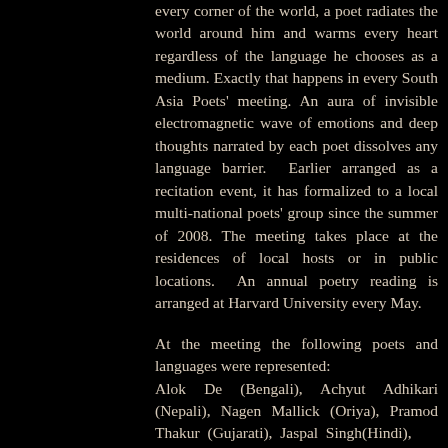every corner of the world, a poet radiates the world around him and warms every heart regardless of the language he chooses as a medium. Exactly that happens in every South Asia Poets' meeting. An aura of invisible electromagnetic wave of emotions and deep thoughts narrated by each poet dissolves any language barrier. Earlier arranged as a recitation event, it has formalized to a local multi-national poets' group since the summer of 2008. The meeting takes place at the residences of local hosts or in public locations. An annual poetry reading is arranged at Harvard University every May.
At the meeting the following poets and languages were represented: Alok De (Bengali), Achyut Adhikari (Nepali), Nagen Mallick (Oriya), Pramod Thakur (Gujarati), Jaspal Singh(Hindi),